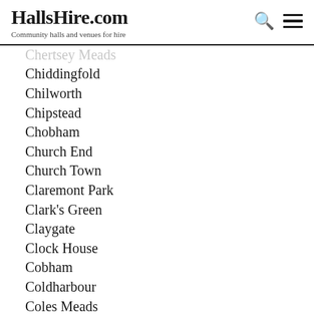HallsHire.com — Community halls and venues for hire
Chertsey Meads
Chiddingfold
Chilworth
Chipstead
Chobham
Church End
Church Town
Claremont Park
Clark's Green
Claygate
Clock House
Cobham
Coldharbour
Coles Meads
Colne
Combe Common
Compton